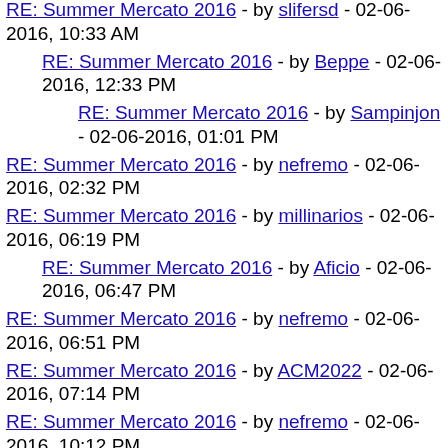RE: Summer Mercato 2016 - by slifersd - 02-06-2016, 10:33 AM
RE: Summer Mercato 2016 - by Beppe - 02-06-2016, 12:33 PM
RE: Summer Mercato 2016 - by Sampinjon - 02-06-2016, 01:01 PM
RE: Summer Mercato 2016 - by nefremo - 02-06-2016, 02:32 PM
RE: Summer Mercato 2016 - by millinarios - 02-06-2016, 06:19 PM
RE: Summer Mercato 2016 - by Aficio - 02-06-2016, 06:47 PM
RE: Summer Mercato 2016 - by nefremo - 02-06-2016, 06:51 PM
RE: Summer Mercato 2016 - by ACM2022 - 02-06-2016, 07:14 PM
RE: Summer Mercato 2016 - by nefremo - 02-06-2016, 10:12 PM
RE: Summer Mercato 2016 - by slifersd - 02-06-2016, 11:54 PM
RE: Summer Mercato 2016 - by nefremo - 02-07-2016, 01:55 AM
RE: Summer Mercato 2016 - by ACM2022 - 02-07-2016, 05:19 AM
RE: Summer Mercato 2016 - by Jay Crisp - 02-07-2016, 11:41 AM